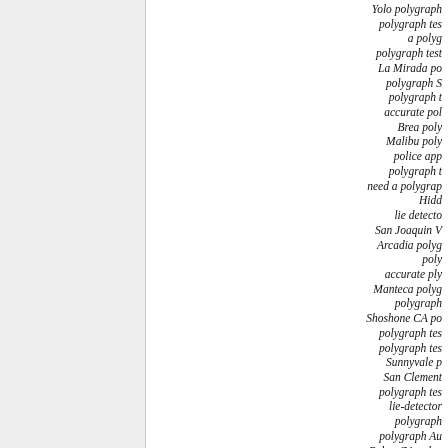Yolo polygraph polygraph tes a polyg polygraph test La Mirada po polygraph S polygraph t accurate pol Brea poly Malibu poly police app polygraph t need a polygrap Hidd lie detecto San Joaquin V Arcadia polyg poly accurate ply Manteca polyg polygraph Shoshone CA po polygraph tes polygraph tes Sunnyvale p San Clement polygraph tes lie-detector polygraph polygraph Au Baker CA polyg polygraph accurate Newport Bea Montebello p polygraph te Lakewood po reasonable p